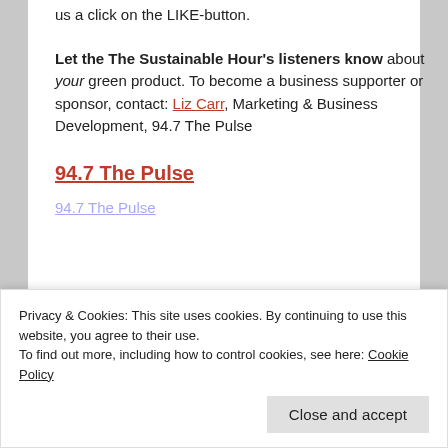us a click on the LIKE-button.
Let the The Sustainable Hour's listeners know about your green product. To become a business supporter or sponsor, contact: Liz Carr, Marketing & Business Development, 94.7 The Pulse
94.7 The Pulse
Privacy & Cookies: This site uses cookies. By continuing to use this website, you agree to their use.
To find out more, including how to control cookies, see here: Cookie Policy
Close and accept